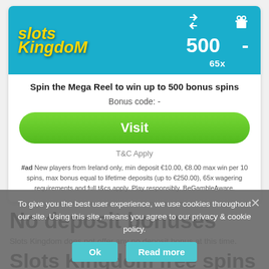[Figure (infographic): Slots Kingdom casino card with teal header showing logo, 500 bonus spins value, dash for no-deposit bonus, 65x wagering, green Visit button, and disclaimer text]
Spin the Mega Reel to win up to 500 bonus spins
Bonus code: -
Visit
T&C Apply
#ad New players from Ireland only, min deposit €10.00, €8.00 max win per 10 spins, max bonus equal to lifetime deposits (up to €250.00), 65x wagering requirements and full t&cs apply. Play responsibly. BeGambleAware.
No deposit bonuses
Slots Kingdom does not offer any no deposit bonus at this time.
To give you the best user experience, we use cookies throughout our site. Using this site, means you agree to our privacy & cookie policy.
Ok
Read more
Slots Kingdom free spins